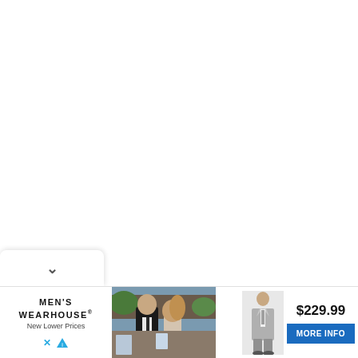[Figure (photo): White blank area (main page content area, mostly empty/white)]
[Figure (other): Dropdown chevron button (collapse/expand arrow) at the bottom-left of the white area]
[Figure (photo): Men's Wearhouse advertisement banner. Left: MEN'S WEARHOUSE logo with 'New Lower Prices' tagline and close/ad icons. Center: Photo of a man in a dark tuxedo and a woman in a formal dress outdoors. Right: Image of a gray suit, price $229.99, and a blue 'MORE INFO' button.]